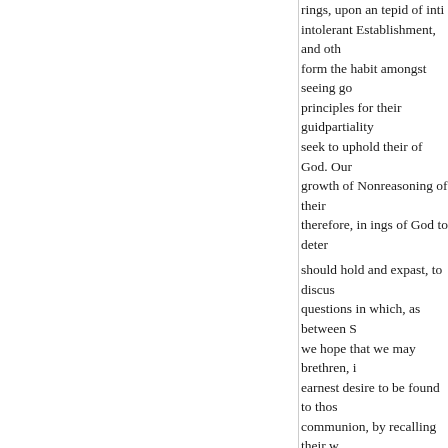rings, upon an tepid of inti intolerant Establishment, and oth form the habit amongst seeing go principles for their guidpartiality seek to uphold their of God. Our growth of Nonreasoning of their therefore, in ings of God to deter should hold and expast, to discus questions in which, as between S we hope that we may brethren, i earnest desire to be found to thos communion, by recalling their w attention to the law and the testi. mony, as the true standard of app and of Christians in this country practice. giving rise to the most s tended to discuss in a similar ma churches and the members of tin public opinion as may we wish t this Magazine will true religion. frequently questions which may them as accounted for by the fac to in questions of mere national